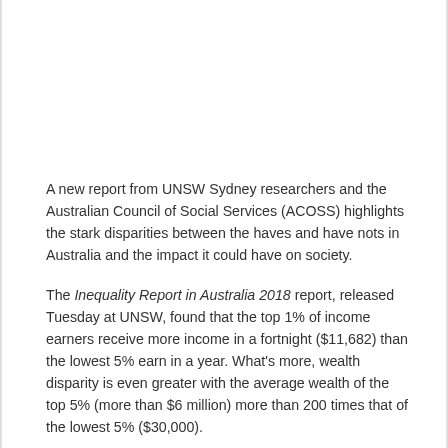A new report from UNSW Sydney researchers and the Australian Council of Social Services (ACOSS) highlights the stark disparities between the haves and have nots in Australia and the impact it could have on society.
The Inequality Report in Australia 2018 report, released Tuesday at UNSW, found that the top 1% of income earners receive more income in a fortnight ($11,682) than the lowest 5% earn in a year. What's more, wealth disparity is even greater with the average wealth of the top 5% (more than $6 million) more than 200 times that of the lowest 5% ($30,000).
Peter Saunders, professor from the UNSW Social